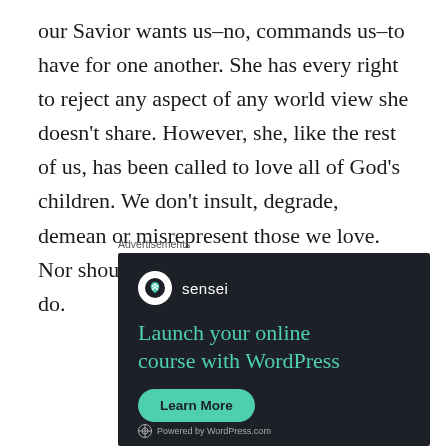our Savior wants us–no, commands us–to have for one another. She has every right to reject any aspect of any world view she doesn't share. However, she, like the rest of us, has been called to love all of God's children. We don't insult, degrade, demean or misrepresent those we love. Nor should we give kudos to those who do.
Advertisements
[Figure (other): Advertisement for Sensei plugin: dark background with Sensei logo, teal headline 'Launch your online course with WordPress', teal 'Learn More' button, and 'Powered by WordPress.com' footer.]